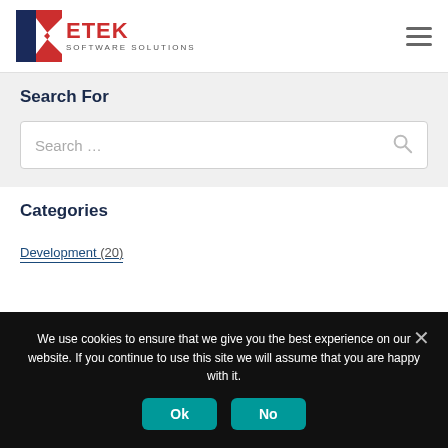[Figure (logo): Ketek Software Solutions logo with stylized K icon in navy and red]
Search For
[Figure (screenshot): Search input box with placeholder text 'Search ...' and search icon]
Categories
Development (20)
We use cookies to ensure that we give you the best experience on our website. If you continue to use this site we will assume that you are happy with it.